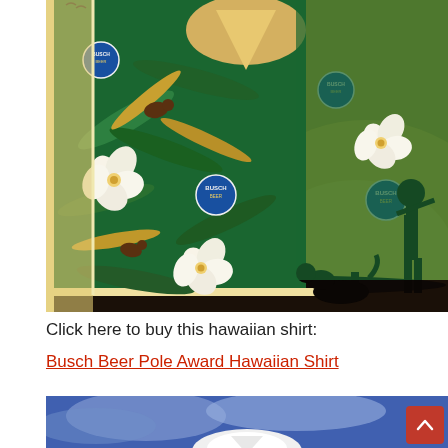[Figure (photo): A green Hawaiian shirt with Busch Beer logos, tropical palm leaves, white hibiscus flowers, and duck/hunting motifs. The shirt is displayed against a sunset background with silhouettes of a hunting dog and a hunter with a gun.]
Click here to buy this hawaiian shirt:
Busch Beer Pole Award Hawaiian Shirt
[Figure (photo): Partial view of another Hawaiian shirt, white collar visible against a blue cloudy sky background. A red scroll-to-top button with an upward arrow is visible in the bottom right.]